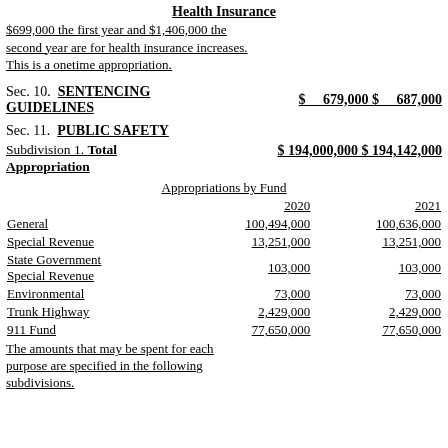Health Insurance
$699,000 the first year and $1,406,000 the second year are for health insurance increases. This is a onetime appropriation.
Sec. 10.  SENTENCING GUIDELINES  $  679,000 $  687,000
Sec. 11.  PUBLIC SAFETY
Subdivision 1. Total Appropriation  $ 194,000,000 $ 194,142,000
Appropriations by Fund
|  | 2020 | 2021 |
| --- | --- | --- |
| General | 100,494,000 | 100,636,000 |
| Special Revenue | 13,251,000 | 13,251,000 |
| State Government Special Revenue | 103,000 | 103,000 |
| Environmental | 73,000 | 73,000 |
| Trunk Highway | 2,429,000 | 2,429,000 |
| 911 Fund | 77,650,000 | 77,650,000 |
The amounts that may be spent for each purpose are specified in the following subdivisions.